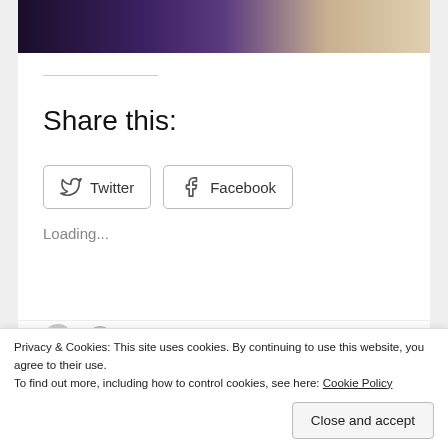[Figure (photo): Dark photograph strip showing crowd of people at an event, partially visible at top of page]
Share this:
Twitter
Facebook
Loading...
Privacy & Cookies: This site uses cookies. By continuing to use this website, you agree to their use.
To find out more, including how to control cookies, see here: Cookie Policy
Close and accept
A Quick Guide For Your Visit